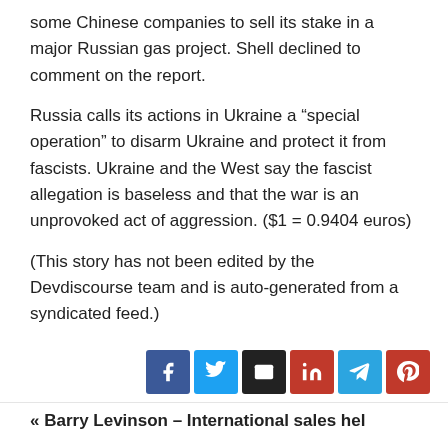some Chinese companies to sell its stake in a major Russian gas project. Shell declined to comment on the report.
Russia calls its actions in Ukraine a “special operation” to disarm Ukraine and protect it from fascists. Ukraine and the West say the fascist allegation is baseless and that the war is an unprovoked act of aggression. ($1 = 0.9404 euros)
(This story has not been edited by the Devdiscourse team and is auto-generated from a syndicated feed.)
[Figure (other): Social media sharing buttons: Facebook, Twitter, Email, LinkedIn, Telegram, Pinterest]
« Barry Levinson – International sales hel